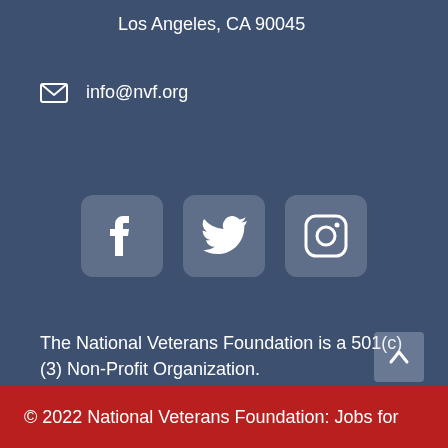Los Angeles, CA 90045
info@nvf.org
[Figure (illustration): Social media icons: Facebook, Twitter, Instagram in rounded square containers on dark blue background]
The National Veterans Foundation is a 501(c)(3) Non-Profit Organization.
Terms and Conditions
© 2022 National Veterans Foundation: Jobs for